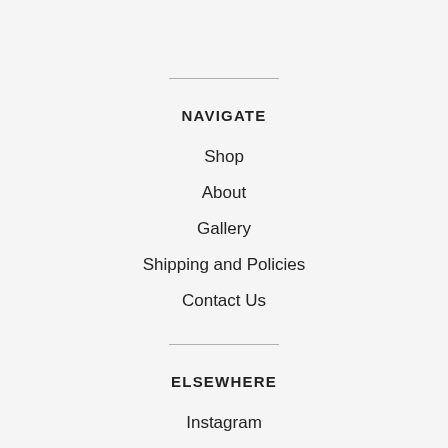NAVIGATE
Shop
About
Gallery
Shipping and Policies
Contact Us
ELSEWHERE
Instagram